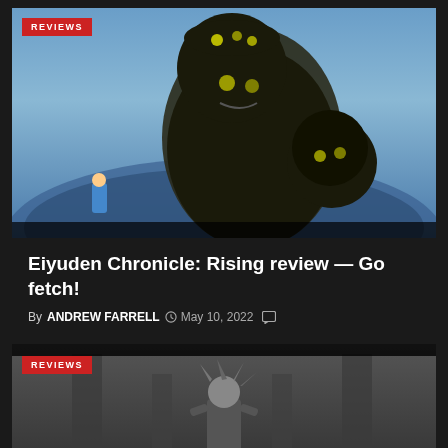[Figure (screenshot): Game screenshot showing a large monster creature with glowing yellow eyes against a blue-toned snowy/icy background, with a REVIEWS badge in the top left corner]
Eiyuden Chronicle: Rising review — Go fetch!
By ANDREW FARRELL  May 10, 2022
[Figure (screenshot): Black and white game screenshot showing a character figure in what appears to be a gothic or dark architectural setting, with a REVIEWS badge in the top left corner]